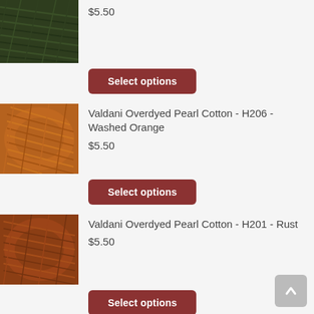[Figure (photo): Dark green overdyed pearl cotton thread skein, partially cropped at top]
$5.50
Select options
[Figure (photo): Orange/tan overdyed pearl cotton thread skein]
Valdani Overdyed Pearl Cotton - H206 - Washed Orange
$5.50
Select options
[Figure (photo): Rust/dark orange overdyed pearl cotton thread skein]
Valdani Overdyed Pearl Cotton - H201 - Rust
$5.50
Select options